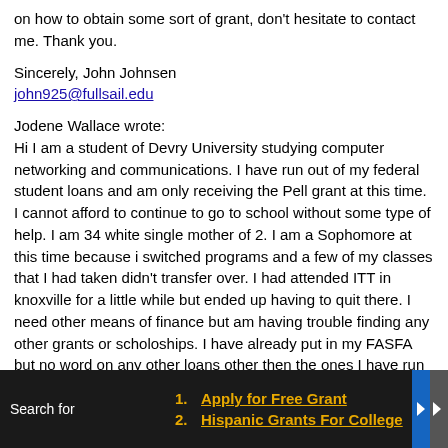on how to obtain some sort of grant, don't hesitate to contact me. Thank you.
Sincerely, John Johnsen
john925@fullsail.edu
Jodene Wallace wrote:
Hi I am a student of Devry University studying computer networking and communications. I have run out of my federal student loans and am only receiving the Pell grant at this time. I cannot afford to continue to go to school without some type of help. I am 34 white single mother of 2. I am a Sophomore at this time because i switched programs and a few of my classes that I had taken didn't transfer over. I had attended ITT in knoxville for a little while but ended up having to quit there. I need other means of finance but am having trouble finding any other grants or scholoships. I have already put in my FASFA but no word on any other loans other then the ones I have run out of. If anyone knows of any programs that might fit me please email me. I am in the state of Florida. Thanks. mj.cummings1022@gmail.com
Chrystina Livingston wrote:
Hello My name is Chrystina Livingston and Im 21 years old African
Search for
1. Apply for Free Grant
2. Hispanic Grants For College